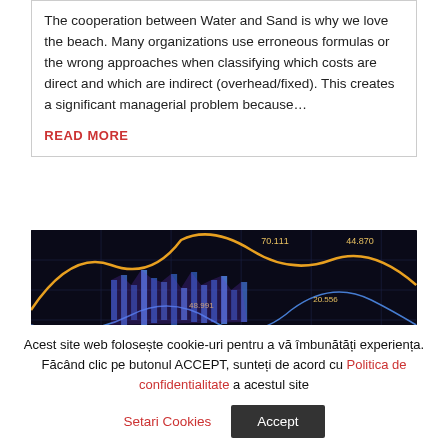The cooperation between Water and Sand is why we love the beach. Many organizations use erroneous formulas or the wrong approaches when classifying which costs are direct and which are indirect (overhead/fixed). This creates a significant managerial problem because…
READ MORE
[Figure (screenshot): Dark financial chart showing candlestick chart with overlaid line charts in yellow/orange and blue/purple. Numeric annotations visible: 70.111, 44.870, 48.991, 20.556]
Acest site web folosește cookie-uri pentru a vă îmbunătăți experiența. Făcând clic pe butonul ACCEPT, sunteți de acord cu Politica de confidentialitate a acestul site
Setari Cookies
Accept